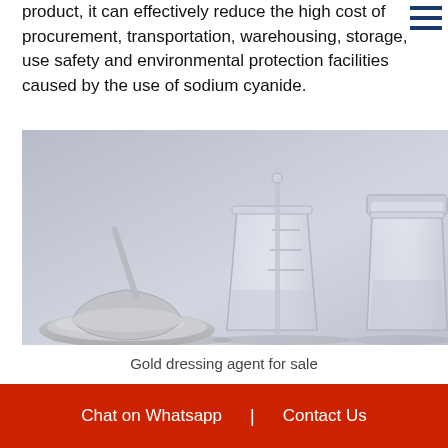product, it can effectively reduce the high cost of procurement, transportation, warehousing, storage, use safety and environmental protection facilities caused by the use of sodium cyanide.
[Figure (photo): Laboratory glassware including a mortar with powder, a glass beaker with stirring rod, and a glass jar on a light grey background. Depicts gold dressing agent chemicals.]
Gold dressing agent for sale
Gold dressing agent instructions for use
Chat on Whatsapp | Contact Us